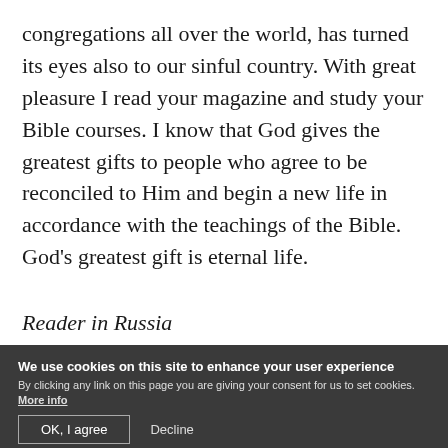congregations all over the world, has turned its eyes also to our sinful country. With great pleasure I read your magazine and study your Bible courses. I know that God gives the greatest gifts to people who agree to be reconciled to Him and begin a new life in accordance with the teachings of the Bible. God's greatest gift is eternal life.
Reader in Russia
We use cookies on this site to enhance your user experience
By clicking any link on this page you are giving your consent for us to set cookies. More info
[OK, I agree] [Decline]
South Africa. I have a sincere wish to further my quest to learn more about our Heavenly Father. I have been receiving Beyond Today magazine of...